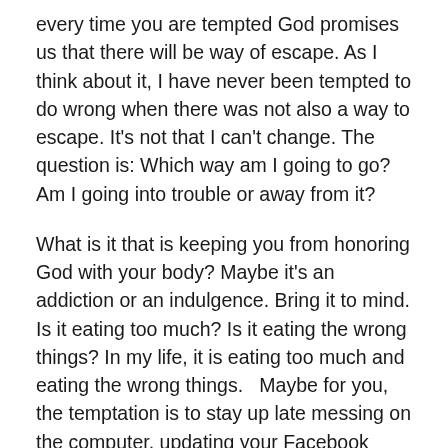every time you are tempted God promises us that there will be way of escape.  As I think about it, I have never been tempted to do wrong when there was not also a way to escape.  It's not that I can't change. The question is: Which way am I going to go? Am I going into trouble or away from it?
What is it that is keeping you from honoring God with your body?  Maybe it's an addiction or an indulgence.  Bring it to mind.  Is it eating too much?  Is it eating the wrong things?  In my life, it is eating too much and eating the wrong things.   Maybe for you, the temptation is to stay up late messing on the computer, updating your Facebook status, or just watching TV so you're not getting enough sleep.  Sleep solves a lot of problems.  Fatigue makes cowards of us all.  Or maybe it's excessive drinking or smoking or maybe it's sexual temptation.  Maybe it's